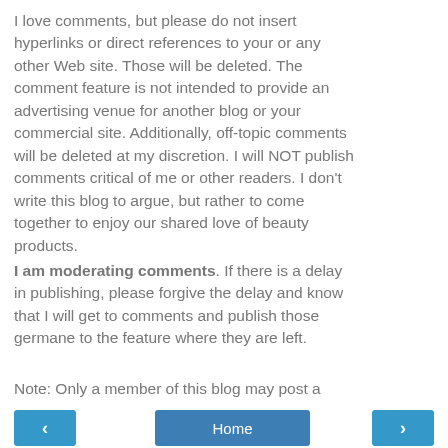I love comments, but please do not insert hyperlinks or direct references to your or any other Web site. Those will be deleted. The comment feature is not intended to provide an advertising venue for another blog or your commercial site. Additionally, off-topic comments will be deleted at my discretion. I will NOT publish comments critical of me or other readers. I don't write this blog to argue, but rather to come together to enjoy our shared love of beauty products.
I am moderating comments. If there is a delay in publishing, please forgive the delay and know that I will get to comments and publish those germane to the feature where they are left.
Note: Only a member of this blog may post a comment.